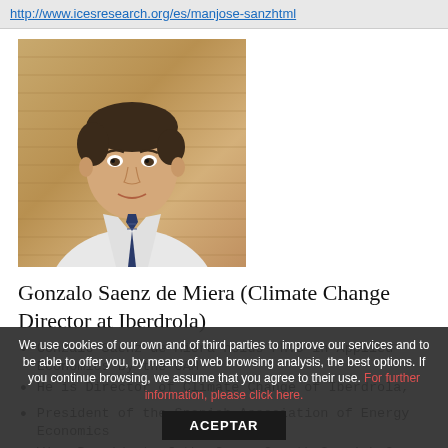http://www.icesresearch.org/es/manjose-sanzhtml
[Figure (photo): Headshot photo of Gonzalo Saenz de Miera, a man in a white shirt and dark tie, seated against a beige/tan paneled background.]
Gonzalo Saenz de Miera (Climate Change Director at Iberdrola)
Gonzalo Sáenz de Miera holds Ph.D in Applied Economics by the UAM
He is Director of Climate Change of Iberdrola,
President of the Spanish Association of Energy Economics
Vice-President of the...
We use cookies of our own and of third parties to improve our services and to be able to offer you, by means of web browsing analysis, the best options. If you continue browsing, we assume that you agree to their use. For further information, please click here.